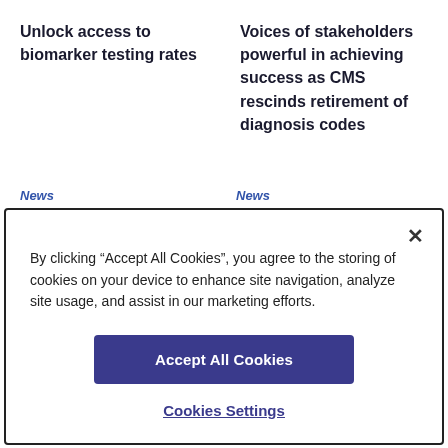Unlock access to biomarker testing rates
Voices of stakeholders powerful in achieving success as CMS rescinds retirement of diagnosis codes
News
News
By clicking “Accept All Cookies”, you agree to the storing of cookies on your device to enhance site navigation, analyze site usage, and assist in our marketing efforts.
Accept All Cookies
Cookies Settings